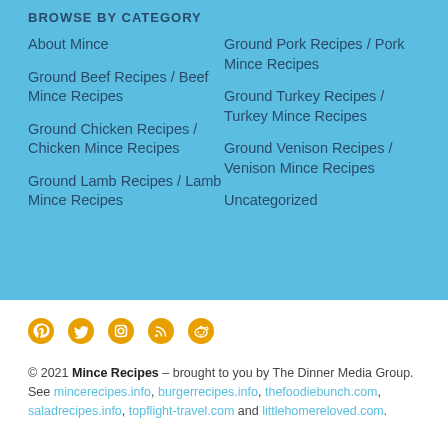BROWSE BY CATEGORY
About Mince
Ground Beef Recipes / Beef Mince Recipes
Ground Chicken Recipes / Chicken Mince Recipes
Ground Lamb Recipes / Lamb Mince Recipes
Ground Pork Recipes / Pork Mince Recipes
Ground Turkey Recipes / Turkey Mince Recipes
Ground Venison Recipes / Venison Mince Recipes
Uncategorized
[Figure (infographic): Social media icons: Pinterest, Twitter, Instagram, RSS feed, Reddit]
© 2021 Mince Recipes – brought to you by The Dinner Media Group. See mincerecipes.info, burgerrecipes.info, thefoodiebunch.com, saladrecipes.info, topflight-travel.com and littlehomereloved.com.